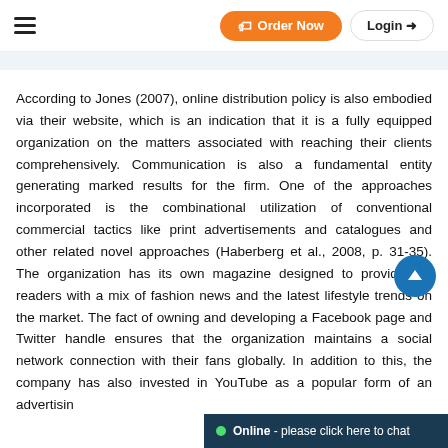Order Now | Login
According to Jones (2007), online distribution policy is also embodied via their website, which is an indication that it is a fully equipped organization on the matters associated with reaching their clients comprehensively. Communication is also a fundamental entity generating marked results for the firm. One of the approaches incorporated is the combinational utilization of conventional commercial tactics like print advertisements and catalogues and other related novel approaches (Haberberg et al., 2008, p. 31-35). The organization has its own magazine designed to provide the readers with a mix of fashion news and the latest lifestyle trends on the market. The fact of owning and developing a Facebook page and Twitter handle ensures that the organization maintains a social network connection with their fans globally. In addition to this, the company has also invested in YouTube as a popular form of an advertising